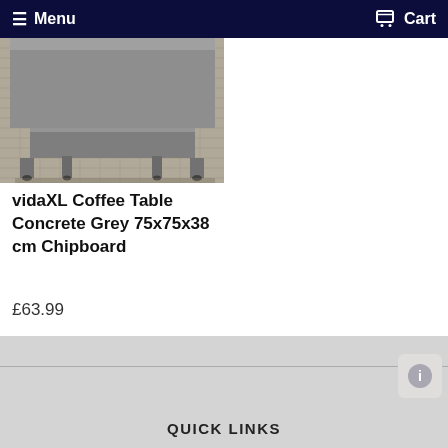☰ Menu   🛒 Cart
[Figure (photo): Photo of a concrete grey chipboard coffee table on a woven rug, showing table legs and bottom portion of the table structure.]
vidaXL Coffee Table Concrete Grey 75x75x38 cm Chipboard
£63.99
QUICK LINKS